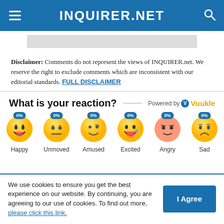INQUIRER.NET
Disclaimer: Comments do not represent the views of INQUIRER.net. We reserve the right to exclude comments which are inconsistent with our editorial standards. FULL DISCLAIMER
What is your reaction?
[Figure (infographic): Reaction emoji widget showing six emojis: Happy 0%, Unmoved 0%, Amused 0%, Excited 0%, Angry 0%, Sad 0%. Powered by Vuukle.]
We use cookies to ensure you get the best experience on our website. By continuing, you are agreeing to our use of cookies. To find out more, please click this link.